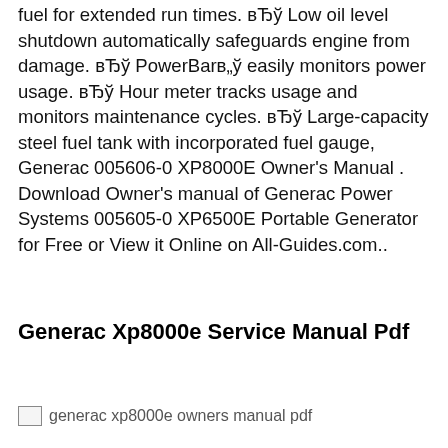fuel for extended run times. вЂў Low oil level shutdown automatically safeguards engine from damage. вЂў PowerBarв„ў easily monitors power usage. вЂў Hour meter tracks usage and monitors maintenance cycles. вЂў Large-capacity steel fuel tank with incorporated fuel gauge, Generac 005606-0 XP8000E Owner's Manual . Download Owner's manual of Generac Power Systems 005605-0 XP6500E Portable Generator for Free or View it Online on All-Guides.com..
Generac Xp8000e Service Manual Pdf
[Figure (other): generac xp8000e owners manual pdf — broken/placeholder image with alt text]